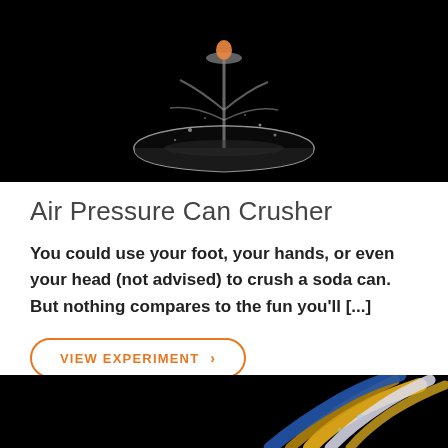[Figure (photo): Dark background photo showing a colorful liquid splash into a glass bowl, with what appears to be a small figurine at the top, water splashing dramatically.]
Air Pressure Can Crusher
You could use your foot, your hands, or even your head (not advised) to crush a soda can. But nothing compares to the fun you'll [...]
VIEW EXPERIMENT >
[Figure (photo): Dark background photo showing colorful straws or tubes — yellow, blue, and clear — intertwined or clustered together.]